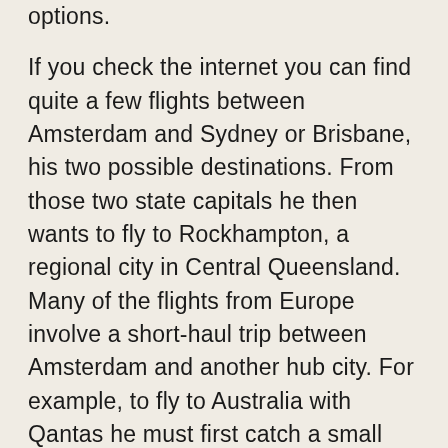options.
If you check the internet you can find quite a few flights between Amsterdam and Sydney or Brisbane, his two possible destinations. From those two state capitals he then wants to fly to Rockhampton, a regional city in Central Queensland. Many of the flights from Europe involve a short-haul trip between Amsterdam and another hub city. For example, to fly to Australia with Qantas he must first catch a small flight to Heathrow, then change to another flight to Australia via Bangkok or Singapore. We've done short transfers like that a few times and they can add complexities to your trip. Our example of Heathrow can be a painful place to transfer planes and twice during short transits our luggage has taken a while to catch up with us (Heathrow – Charles de Gaulle and